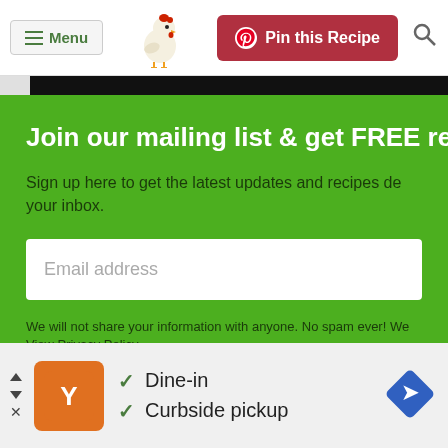Menu | Pin this Recipe
Join our mailing list & get FREE re
Sign up here to get the latest updates and recipes de your inbox.
Email address
We will not share your information with anyone. No spam ever! We View Privacy Policy
[Figure (screenshot): Ad banner with orange logo, dine-in and curbside pickup checkmarks, and blue navigation arrow icon]